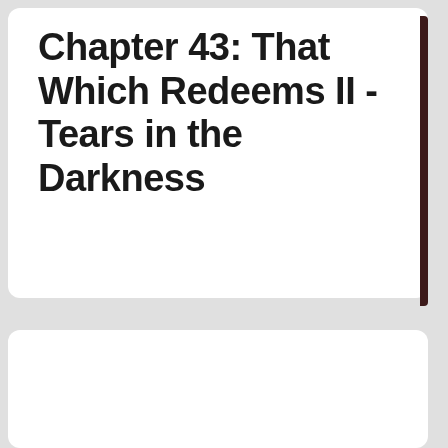Chapter 43: That Which Redeems II - Tears in the Darkness